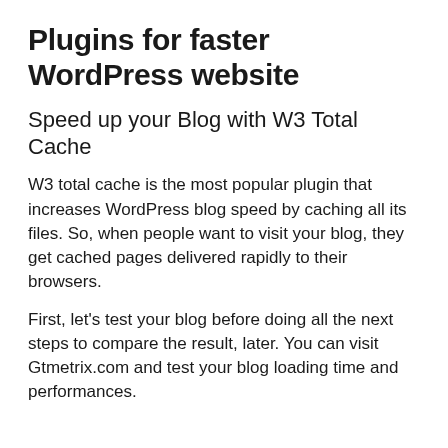Plugins for faster WordPress website
Speed up your Blog with W3 Total Cache
W3 total cache is the most popular plugin that increases WordPress blog speed by caching all its files. So, when people want to visit your blog, they get cached pages delivered rapidly to their browsers.
First, let’s test your blog before doing all the next steps to compare the result, later. You can visit Gtmetrix.com and test your blog loading time and performances.